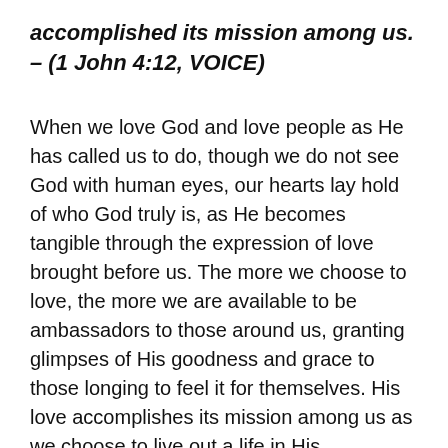accomplished its mission among us. – (1 John 4:12, VOICE)
When we love God and love people as He has called us to do, though we do not see God with human eyes, our hearts lay hold of who God truly is, as He becomes tangible through the expression of love brought before us. The more we choose to love, the more we are available to be ambassadors to those around us, granting glimpses of His goodness and grace to those longing to feel it for themselves. His love accomplishes its mission among us as we choose to live out a life in His